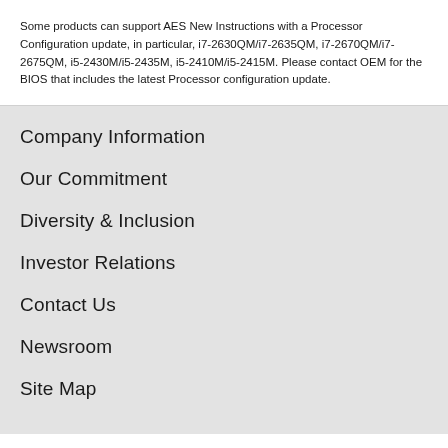Some products can support AES New Instructions with a Processor Configuration update, in particular, i7-2630QM/i7-2635QM, i7-2670QM/i7-2675QM, i5-2430M/i5-2435M, i5-2410M/i5-2415M. Please contact OEM for the BIOS that includes the latest Processor configuration update.
Company Information
Our Commitment
Diversity & Inclusion
Investor Relations
Contact Us
Newsroom
Site Map